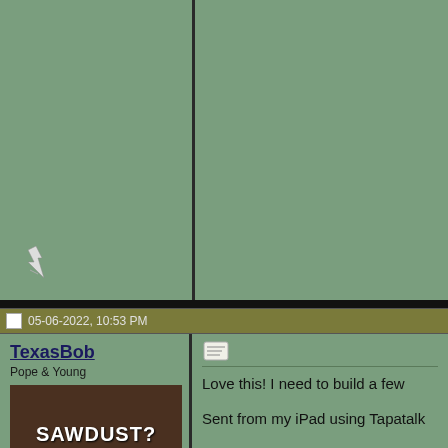[Figure (screenshot): Forum post layout - top section with two green columns separated by dark border, with a pencil/edit icon in bottom left of left column]
05-06-2022, 10:53 PM
TexasBob
Pope & Young
[Figure (photo): Meme image showing a man with SAWDUST? text overlay]
Love this! I need to build a few
Sent from my iPad using Tapatalk